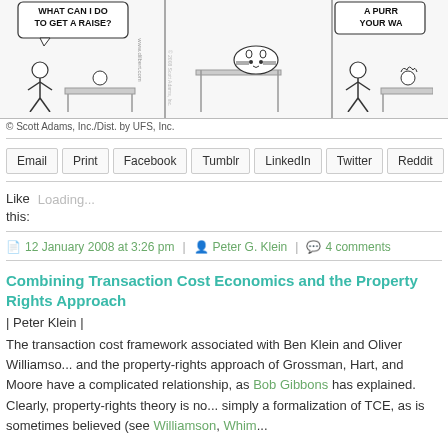[Figure (illustration): Dilbert comic strip panels showing a character asking 'WHAT CAN I DO TO GET A RAISE?' with a cat character at a desk, and another panel partially visible. www.dilbert.com watermark visible.]
© Scott Adams, Inc./Dist. by UFS, Inc.
Email | Print | Facebook | Tumblr | LinkedIn | Twitter | Reddit
Like this: Loading...
12 January 2008 at 3:26 pm  |  Peter G. Klein  |  4 comments
Combining Transaction Cost Economics and the Property Rights Approach
| Peter Klein |
The transaction cost framework associated with Ben Klein and Oliver Williamson and the property-rights approach of Grossman, Hart, and Moore have a complicated relationship, as Bob Gibbons has explained. Clearly, property-rights theory is not simply a formalization of TCE, as is sometimes believed (see Williamson, Whim...